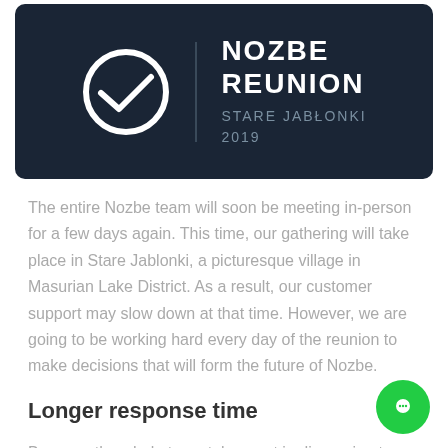[Figure (logo): Nozbe Reunion logo on dark navy background with a checkmark circle icon and text: NOZBE REUNION / STARE JABŁONKI / 2019]
The entire Nozbe team will soon be meeting in-person for a few days again. This time, our gathering will take place in Stare Jablonki, a picturesque village in Masurian Lake District. As a result, our customer support may slow down at that time. However, we are going to be working hard every day of the reunion to make decisions that will form the future of Nozbe.
Longer response time
Because the whole team takes part in discussing the strategic works during the reunion, the customer